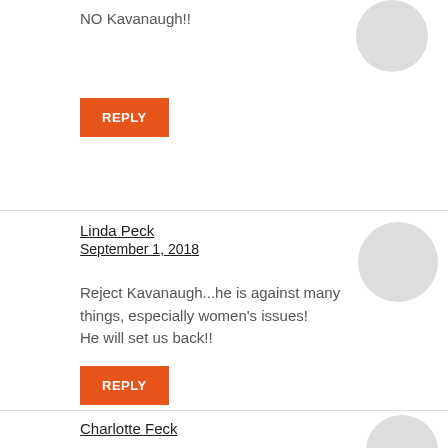NO Kavanaugh!!
REPLY
Linda Peck
September 1, 2018
Reject Kavanaugh...he is against many things, especially women’s issues! He will set us back!!
REPLY
Charlotte Feck
September 1, 2018
This is just one of the main reasons to